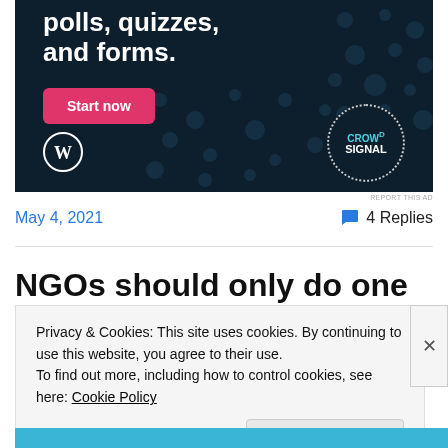[Figure (screenshot): Advertisement banner with dark navy background showing text 'polls, quizzes, and forms.' with a pink 'Start now' button, WordPress logo bottom left, and Crowdsignal logo bottom right]
REPORT THIS AD
May 4, 2021   💬 4 Replies
NGOs should only do one
Privacy & Cookies: This site uses cookies. By continuing to use this website, you agree to their use.
To find out more, including how to control cookies, see here: Cookie Policy